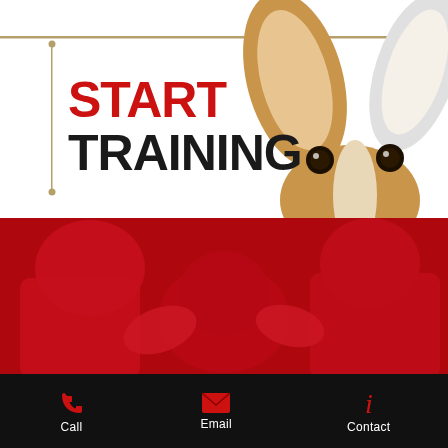[Figure (illustration): White background hero section with gold horizontal bar at top, vertical gold line with dots on left side, text START TRAINING in red and dark, and photo of dog peeking with big ears on the right side]
START TRAINING
[Figure (photo): Red-tinted photo of a person holding a dog's face, two people visible in background, full red overlay]
[Figure (infographic): Black footer bar with three contact icons and labels: Call (phone icon), Email (envelope icon), Contact (info icon), all icons in red]